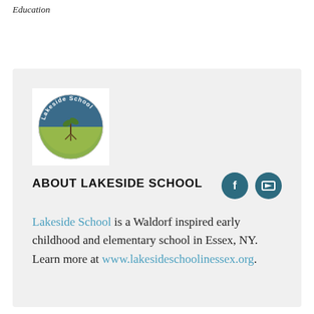Education
[Figure (logo): Lakeside School circular logo with a plant/seedling illustration, blue upper half and green lower half, text 'Lakeside School' around the circle]
ABOUT LAKESIDE SCHOOL
Lakeside School is a Waldorf inspired early childhood and elementary school in Essex, NY. Learn more at www.lakesideschoolinessex.org.